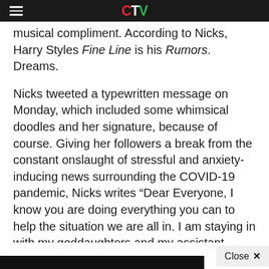CTV
musical compliment. According to Nicks, Harry Styles Fine Line is his Rumors. Dreams.
Nicks tweeted a typewritten message on Monday, which included some whimsical doodles and her signature, because of course. Giving her followers a break from the constant onslaught of stressful and anxiety-inducing news surrounding the COVID-19 pandemic, Nicks writes “Dear Everyone, I know you are doing everything you can to help the situation we are all in. I am staying in with my goddaughters and my assistant Karen —  and all our dogs, Lily, Luna and Mana — trying to think of creative things to do.” The award-winning Nicks said that she’s recently unpacked all her paintings and drawings, finding a spark of inspiration from her friend Harry Styles.